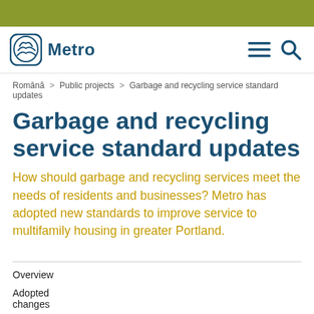[Figure (logo): Metro logo with circular icon and text 'Metro']
Română > Public projects > Garbage and recycling service standard updates
Garbage and recycling service standard updates
How should garbage and recycling services meet the needs of residents and businesses? Metro has adopted new standards to improve service to multifamily housing in greater Portland.
Overview
Adopted changes
Measuring